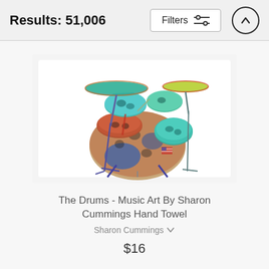Results: 51,006
Filters
[Figure (photo): Colorful watercolor-style painting of a drum kit on a white hand towel. The drums and cymbals are painted in vibrant blues, reds, oranges, teals, and greens.]
The Drums - Music Art By Sharon Cummings Hand Towel
Sharon Cummings
$16